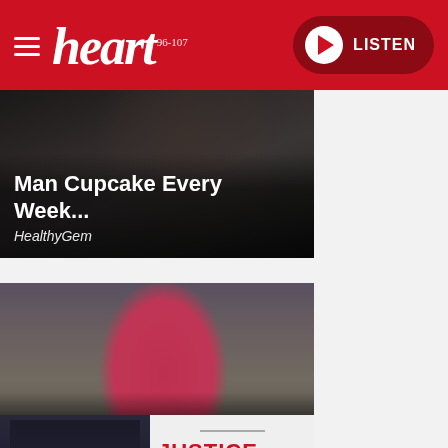[Figure (screenshot): Heart FM radio website header with red background, hamburger menu, Heart logo in white italic, and a dark red LISTEN button with play icon on the right]
[Figure (photo): Article card with dark photo background. Title: 'Man Cupcake Every Week...' with source 'HealthyGem']
[Figure (photo): Article card with photo of person in red swimwear. Title: 'Weight Gain After 60 Literally Comes Down To...' with source 'Wellness Guide']
[Figure (photo): Article card split: left side shows military uniform, right side shows 'JUSTICE FOR' text in red on light background]